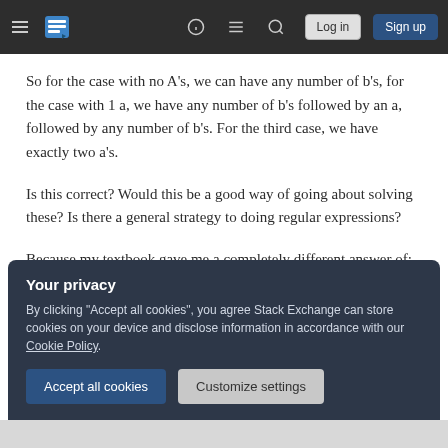Stack Exchange navigation bar with hamburger menu, logo, help, chat, search icons, Log in and Sign up buttons
So for the case with no A's, we can have any number of b's, for the case with 1 a, we have any number of b's followed by an a, followed by any number of b's. For the third case, we have exactly two a's.
Is this correct? Would this be a good way of going about solving these? Is there a general strategy to doing regular expressions?
Because my textbook gave me a completely different answer of:
Your privacy
By clicking "Accept all cookies", you agree Stack Exchange can store cookies on your device and disclose information in accordance with our Cookie Policy.
Accept all cookies
Customize settings